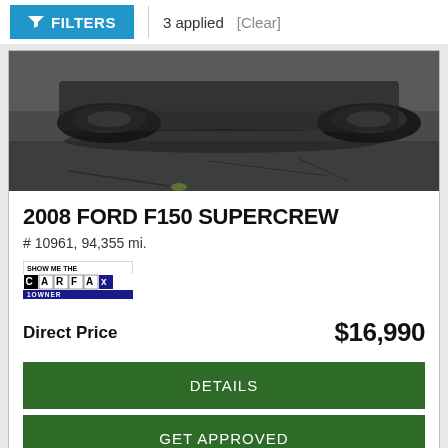FILTERS | 3 applied [Clear]
[Figure (photo): Bottom portion of a dark truck/SUV showing tires and wheels on an asphalt parking lot surface]
2008 FORD F150 SUPERCREW
# 10961, 94,355 mi.
[Figure (logo): CARFAX Show Me The 1 Owner badge/logo]
Direct Price    $16,990
DETAILS
GET APPROVED